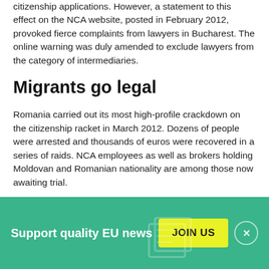citizenship applications. However, a statement to this effect on the NCA website, posted in February 2012, provoked fierce complaints from lawyers in Bucharest. The online warning was duly amended to exclude lawyers from the category of intermediaries.
Migrants go legal
Romania carried out its most high-profile crackdown on the citizenship racket in March 2012. Dozens of people were arrested and thousands of euros were recovered in a series of raids. NCA employees as well as brokers holding Moldovan and Romanian nationality are among those now awaiting trial.
[Figure (infographic): Green banner at the bottom of the page with white text reading 'Support quality EU news', a yellow 'JOIN US' button, and a circular close button with an X symbol.]